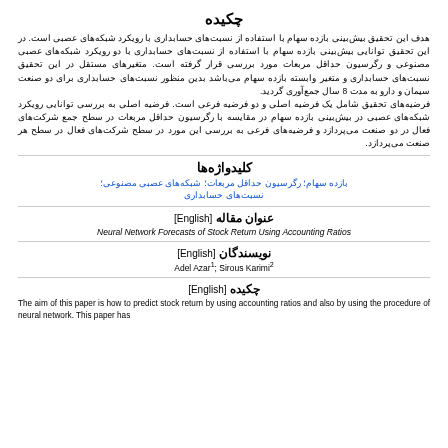چکیده
هدف این تحقیق بیش‌بینی بازده سهام با استفاده از نسبت‌های حسابداری با رویکرد شبکه‌های عصبی است. در این تحقیق توانایی بیش‌بینی بازده سهام با استفاده از نسبت‌های حسابداری با دو رویکرد شبکه‌های عصبی مصنوعی و رگرسیون حداقل مربعات مورد بررسی قرار گرفته است. متغیرهای مستقل در این تحقیق نسبت‌های حسابداری و متغیر وابسته بازده سهام می‌باشد بدین منظور نسبت‌های حسابداری برای دو صنعت سیمان و دارو به مدت 8 سال جمع‌آوری گردید.
فرضیه‌های تحقیق شامل یک فرضیه اصلی و دو فرضیه فرعی است. فرضیه اصلی به بررسی توانایی رویکرد شبکه‌های عصبی در بیش‌بینی بازده سهام در مقایسه با رگرسیون حداقل مربعات در سطح جمع شرکت‌های فعال در دو صنعت می‌پردازد و فرضیه‌های فرعی به بررسی این مورد در سطح شرکت‌های فعال در سطح هر صنعت می‌پردازد.
کلیدواژه‌ها
بازده سهام؛ رگرسیون حداقل مربعات؛ شبکه‌های عصبی مصنوعی؛ نسبت‌های حسابداری
عنوان مقاله [English]
Neural Network Forecasts of Stock Return Using Accounting Ratios
نویسندگان [English]
Adel Azar1; Sirous Karimi2
چکیده [English]
The aim of this paper is how to predict stock return by using accounting ratios and also by using the procedure of neural network. This paper has